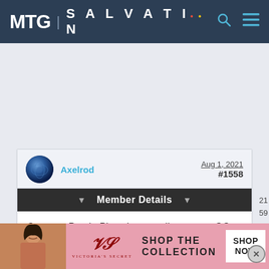MTG | SALVATION
Axelrod
Aug 1, 2021
#1558
Member Details
Congrats Proph. Played an excellent game. GG everyone else. Was fun.
[Figure (infographic): Victoria's Secret advertisement banner at the bottom. Shows a woman, VS logo, 'SHOP THE COLLECTION', and 'SHOP NOW' button.]